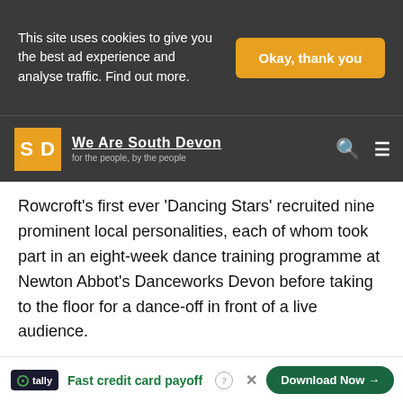This site uses cookies to give you the best ad experience and analyse traffic. Find out more.
Okay, thank you
We Are South Devon — for the people, by the people
Rowcroft's first ever 'Dancing Stars' recruited nine prominent local personalities, each of whom took part in an eight-week dance training programme at Newton Abbot's Danceworks Devon before taking to the floor for a dance-off in front of a live audience.
The brave souls who put their best foot forward were Founder of Wizard Jeans Sally Allen-Gerard; Torbay Cllr Nick Bye; 'The Beach Hut' magazine founder, Gesche Bueck … of Torquay Athletic Rugby Football Club, Jacki … and